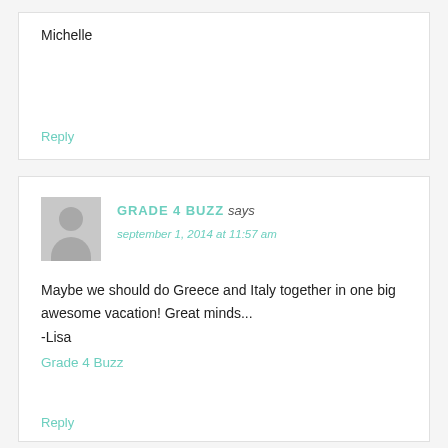Michelle
Reply
GRADE 4 BUZZ says
september 1, 2014 at 11:57 am
Maybe we should do Greece and Italy together in one big awesome vacation! Great minds...
-Lisa
Grade 4 Buzz
Reply